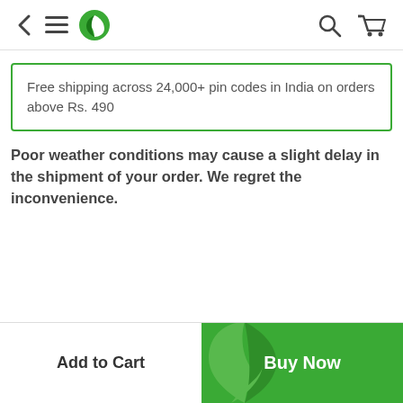Navigation bar with back arrow, menu, logo, search, and cart icons
Free shipping across 24,000+ pin codes in India on orders above Rs. 490
Poor weather conditions may cause a slight delay in the shipment of your order. We regret the inconvenience.
Add to Cart
Buy Now